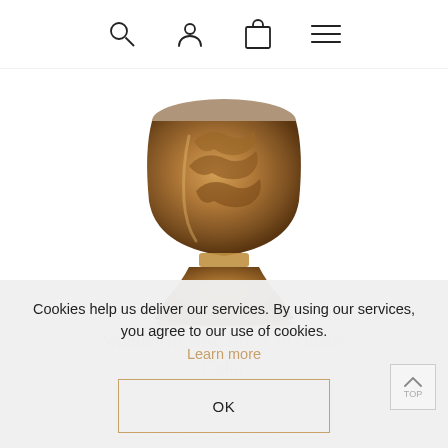[Figure (screenshot): Website navigation bar with search, user account, shopping bag, and hamburger menu icons]
[Figure (photo): Bronze/brass decorative monument vase with leaf and floral relief engravings, shown on a white background]
Cookies help us deliver our services. By using our services, you agree to our use of cookies. Learn more
OK
Monument Vase Brass in classic Color
Information about construction and maintenance can be